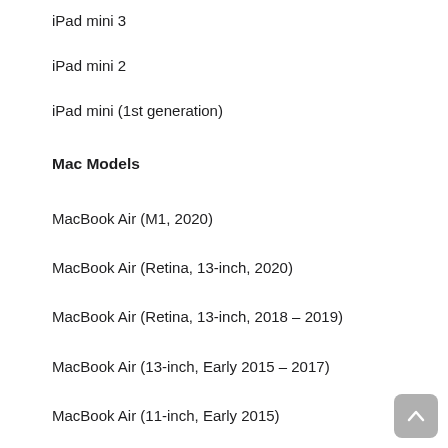iPad mini 3
iPad mini 2
iPad mini (1st generation)
Mac Models
MacBook Air (M1, 2020)
MacBook Air (Retina, 13-inch, 2020)
MacBook Air (Retina, 13-inch, 2018 – 2019)
MacBook Air (13-inch, Early 2015 – 2017)
MacBook Air (11-inch, Early 2015)